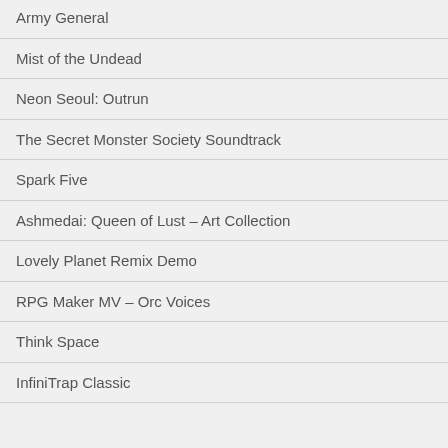Army General
Mist of the Undead
Neon Seoul: Outrun
The Secret Monster Society Soundtrack
Spark Five
Ashmedai: Queen of Lust – Art Collection
Lovely Planet Remix Demo
RPG Maker MV – Orc Voices
Think Space
InfiniTrap Classic